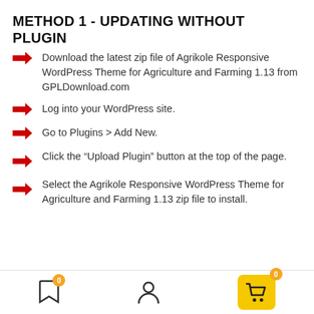METHOD 1 - UPDATING WITHOUT PLUGIN
Download the latest zip file of Agrikole Responsive WordPress Theme for Agriculture and Farming 1.13 from GPLDownload.com
Log into your WordPress site.
Go to Plugins > Add New.
Click the “Upload Plugin” button at the top of the page.
Select the Agrikole Responsive WordPress Theme for Agriculture and Farming 1.13 zip file to install.
Navigation bar with bookmark (0), user, and cart (0) icons